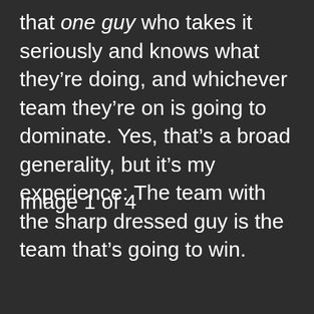that one guy who takes it seriously and knows what they're doing, and whichever team they're on is going to dominate. Yes, that's a broad generality, but it's my experience: The team with the sharp dressed guy is the team that's going to win.
Image 1 of 4